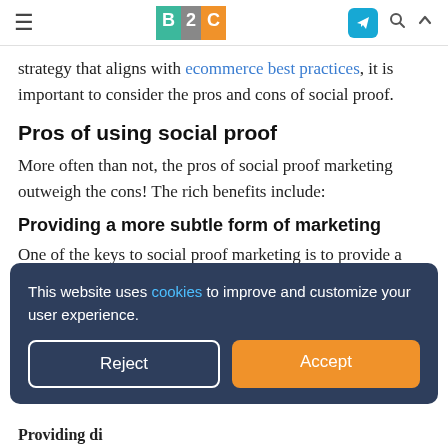≡  B2C  [telegram icon] [search icon] [chevron icon]
strategy that aligns with ecommerce best practices, it is important to consider the pros and cons of social proof.
Pros of using social proof
More often than not, the pros of social proof marketing outweigh the cons! The rich benefits include:
Providing a more subtle form of marketing
One of the keys to social proof marketing is to provide a
This website uses cookies to improve and customize your user experience.
Reject
Accept